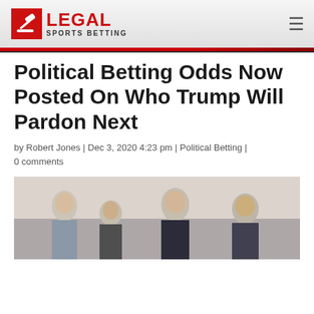[Figure (logo): Legal Sports Betting logo with red gavel icon and red LEGAL text with SPORTS BETTING subtitle]
Political Betting Odds Now Posted On Who Trump Will Pardon Next
by Robert Jones | Dec 3, 2020 4:23 pm | Political Betting | 0 comments
[Figure (photo): Group of men in formal attire standing together, appears to be a legal or political setting]